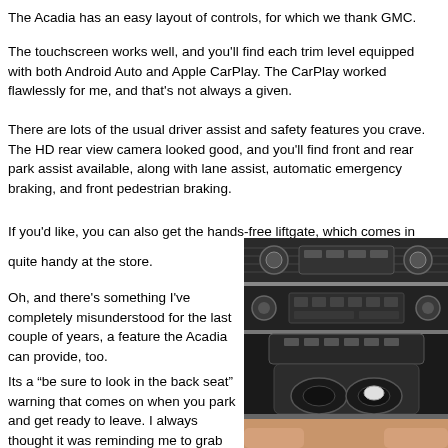The Acadia has an easy layout of controls, for which we thank GMC.
The touchscreen works well, and you'll find each trim level equipped with both Android Auto and Apple CarPlay. The CarPlay worked flawlessly for me, and that's not always a given.
There are lots of the usual driver assist and safety features you crave. The HD rear view camera looked good, and you'll find front and rear park assist available, along with lane assist, automatic emergency braking, and front pedestrian braking.
If you'd like, you can also get the hands-free liftgate, which comes in quite handy at the store.
Oh, and there's something I've completely misunderstood for the last couple of years, a feature the Acadia can provide, too.
Its a “be sure to look in the back seat” warning that comes on when you park and get ready to leave. I always thought it was reminding me to grab my groceries or backpack.
[Figure (photo): Interior photo of a GMC Acadia showing the center console with climate controls, infotainment screen area, gear shift, and cup holders.]